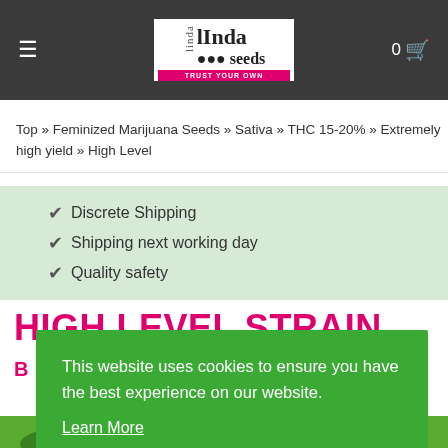Linda Seeds — Trust Your Own
Top » Feminized Marijuana Seeds » Sativa » THC 15-20% » Extremely high yield » High Level
✔ Discrete Shipping
✔ Shipping next working day
✔ Quality safety
HIGH LEVEL STRAIN
This website uses cookies to ensure you have the best experience on our website. Learn More
Allow cookies